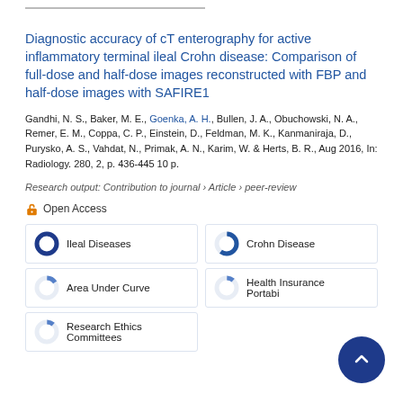Diagnostic accuracy of cT enterography for active inflammatory terminal ileal Crohn disease: Comparison of full-dose and half-dose images reconstructed with FBP and half-dose images with SAFIRE1
Gandhi, N. S., Baker, M. E., Goenka, A. H., Bullen, J. A., Obuchowski, N. A., Remer, E. M., Coppa, C. P., Einstein, D., Feldman, M. K., Kanmaniraja, D., Purysko, A. S., Vahdat, N., Primak, A. N., Karim, W. & Herts, B. R., Aug 2016, In: Radiology. 280, 2, p. 436-445 10 p.
Research output: Contribution to journal › Article › peer-review
Open Access
Ileal Diseases
Crohn Disease
Area Under Curve
Health Insurance Portabi...
Research Ethics Committees